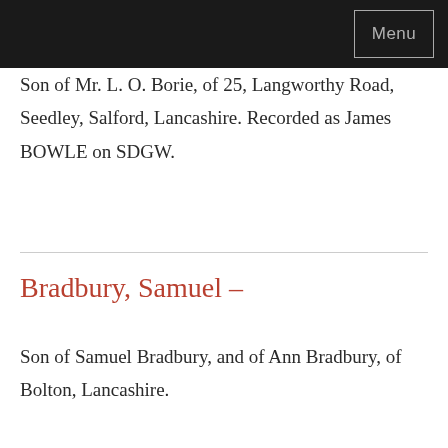Menu
Son of Mr. L. O. Borie, of 25, Langworthy Road, Seedley, Salford, Lancashire. Recorded as James BOWLE on SDGW.
Bradbury, Samuel –
Son of Samuel Bradbury, and of Ann Bradbury, of Bolton, Lancashire.